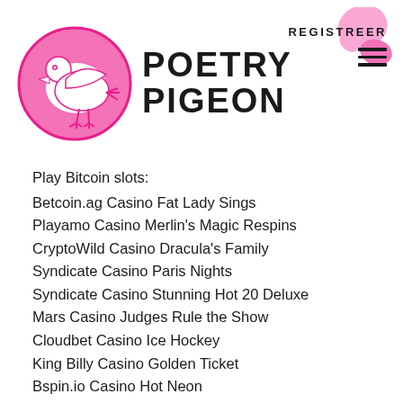[Figure (logo): Poetry Pigeon logo: pink circle with white pigeon silhouette outline, bold black text POETRY PIGEON beside it, REGISTREER text and hamburger menu with pink floral splash on the right]
Play Bitcoin slots:
Betcoin.ag Casino Fat Lady Sings
Playamo Casino Merlin's Magic Respins
CryptoWild Casino Dracula's Family
Syndicate Casino Paris Nights
Syndicate Casino Stunning Hot 20 Deluxe
Mars Casino Judges Rule the Show
Cloudbet Casino Ice Hockey
King Billy Casino Golden Ticket
Bspin.io Casino Hot Neon
Betchan Casino Cricket Star
Vegas Crest Casino Fu Lu Shou
22Bet Casino The Slotfather 2
BitcoinCasino.us Spellcast
King Billy Casino Great88
Betchan Casino Legend of the White Snake